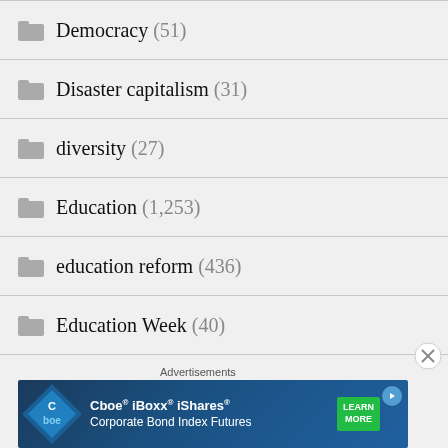Democracy (51)
Disaster capitalism (31)
diversity (27)
Education (1,253)
education reform (436)
Education Week (40)
Educational Research (78)
EduSanity (1)
[Figure (screenshot): Cboe iBoxx iShares Corporate Bond Index Futures advertisement banner with Learn More button]